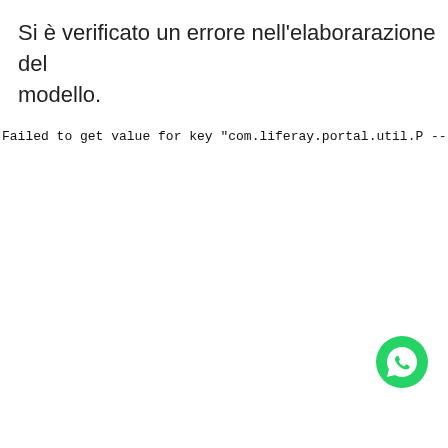Si è verificato un errore nell'elaborarazione del modello.
Failed to get value for key "com.liferay.portal.util.P
----
FTL stack trace ("~" means nesting-related):
        - Failed at: #assign PortalUtil = staticUtil[
----
1<#assign PortalUtil = staticUtil["com.liferay.portal
2<#assign serviceContext = staticUtil["com.liferay.po
3<#assign httpServletRequest = serviceContext.getReque
4<#assign portalURL = httpUtil.getProtocol(request['a
5<#assign mainPath = getterUtil.getString(requ  'the
6
[Figure (logo): WhatsApp green circle logo icon]